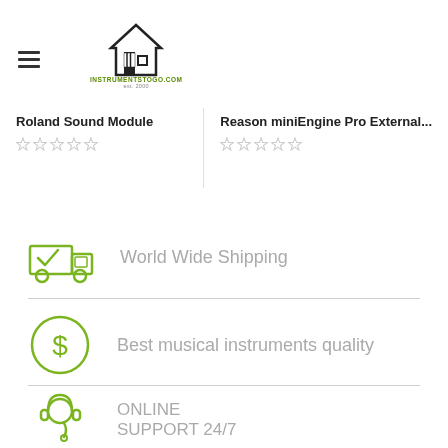INSTRUMENTSTOGO.COM est. 2000
Roland Sound Module
Reason miniEngine Pro External...
World Wide Shipping
Best musical instruments quality
ONLINE SUPPORT 24/7